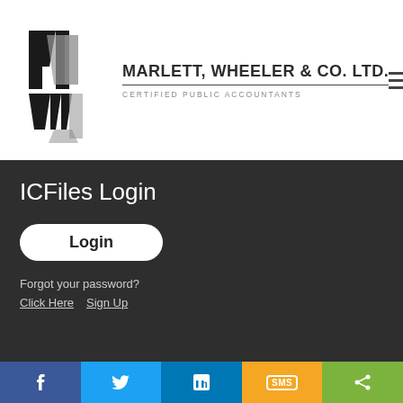[Figure (logo): Marlett, Wheeler & Co. Ltd. Certified Public Accountants logo with stylized MW lettermark in black and gray]
ICFiles Login
[Figure (other): Login button (white rounded rectangle with 'Login' text)]
Forgot your password?
Click Here  Sign Up
[Figure (other): Social sharing bar with Facebook, Twitter, LinkedIn, SMS, and Share buttons]